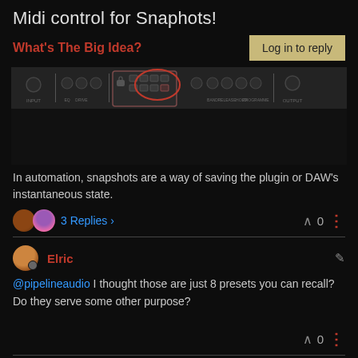Midi control for Snaphots!
What's The Big Idea?
[Figure (screenshot): Screenshot of an audio plugin interface showing knobs, buttons and controls with a red arrow pointing to a section of the interface]
In automation, snapshots are a way of saving the plugin or DAW's instantaneous state.
3 Replies  >   0
Elric
@pipelineaudio I thought those are just 8 presets you can recall? Do they serve some other purpose?
0